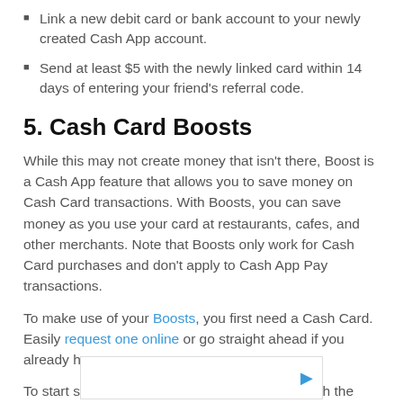Link a new debit card or bank account to your newly created Cash App account.
Send at least $5 with the newly linked card within 14 days of entering your friend's referral code.
5. Cash Card Boosts
While this may not create money that isn't there, Boost is a Cash App feature that allows you to save money on Cash Card transactions. With Boosts, you can save money as you use your card at restaurants, cafes, and other merchants. Note that Boosts only work for Cash Card purchases and don't apply to Cash App Pay transactions.
To make use of your Boosts, you first need a Cash Card. Easily request one online or go straight ahead if you already have one.
To start saving with your Cash Card, proceed with the following steps:
[Figure (other): Advertisement box with a play/send icon in blue on the right side]